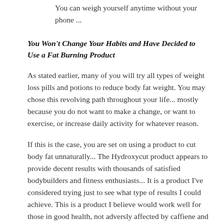You can weigh yourself anytime without your phone ...
You Won't Change Your Habits and Have Decided to Use a Fat Burning Product
As stated earlier, many of you will try all types of weight loss pills and potions to reduce body fat weight. You may chose this revolving path throughout your life... mostly because you do not want to make a change, or want to exercise, or increase daily activity for whatever reason.
If this is the case, you are set on using a product to cut body fat unnaturally... The Hydroxycut product appears to provide decent results with thousands of satisfied bodybuilders and fitness enthusiasts... It is a product I've considered trying just to see what type of results I could achieve. This is a product I believe would work well for those in good health, not adversly affected by caffiene and already engaged in daily